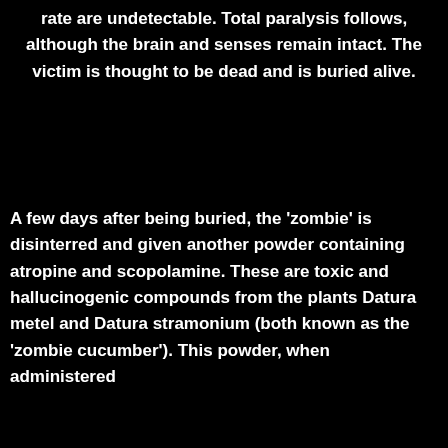rate are undetectable. Total paralysis follows, although the brain and senses remain intact. The victim is thought to be dead and is buried alive.
A few days after being buried, the 'zombie' is disinterred and given another powder containing atropine and scopolamine. These are toxic and hallucinogenic compounds from the plants Datura metel and Datura stramonium (both known as the 'zombie cucumber'). This powder, when administered